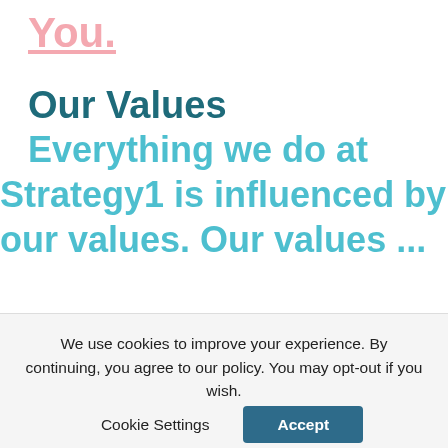You.
Our Values
Everything we do at Strategy1 is influenced by our values. Our values ...
We use cookies to improve your experience. By continuing, you agree to our policy. You may opt-out if you wish.
Cookie Settings
Accept